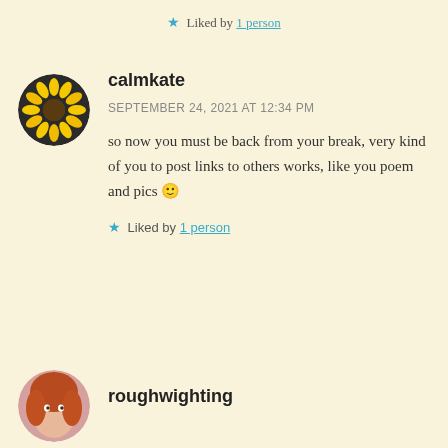★ Liked by 1 person
calmkate
SEPTEMBER 24, 2021 AT 12:34 PM
so now you must be back from your break, very kind of you to post links to others works, like you poem and pics 🙂
★ Liked by 1 person
roughwighting